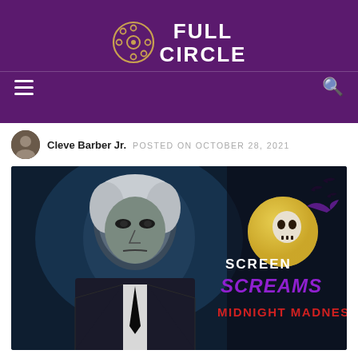FULL CIRCLE
Cleve Barber Jr. POSTED ON OCTOBER 28, 2021
[Figure (screenshot): Featured image showing a horror-themed thumbnail with an elderly man in a dark suit, overlaid text reading 'SCREEN SCREAMS MIDNIGHT MADNESS' with a skull and moon graphic in purple and red.]